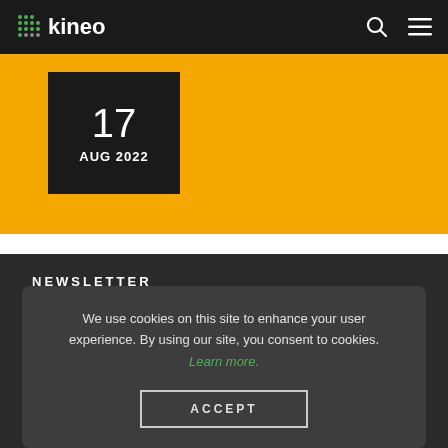kineo
[Figure (other): Orange banner with date box showing 17 AUG 2022 on dark background]
NEWSLETTER
We use cookies on this site to enhance your user experience. By using our site, you consent to cookies. Learn more.
ACCEPT
SUBSCRIBE